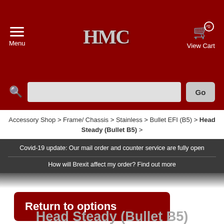Menu | HMC Logo | View Cart (0)
Accessory Shop > Frame/ Chassis > Stainless > Bullet EFI (B5) > Head Steady (Bullet B5) >
Covid-19 update: Our mail order and counter service are fully open
How will Brexit affect my order? Find out more
Return to options
Head Steady (Bullet B5)